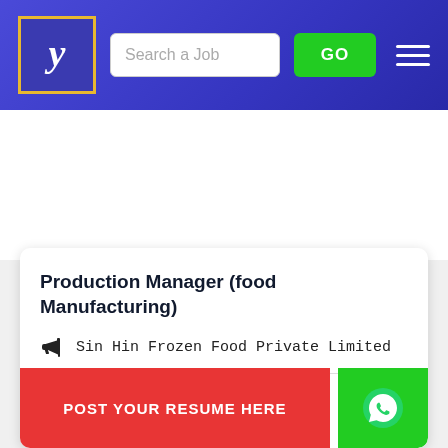[Figure (screenshot): Navigation bar with logo (stylized Y in gold-bordered box), search input labeled 'Search a Job', green GO button, and hamburger menu icon, on a dark blue/purple gradient background]
Production Manager (food Manufacturing)
Sin Hin Frozen Food Private Limited
Location : Singapore
POST YOUR RESUME HERE